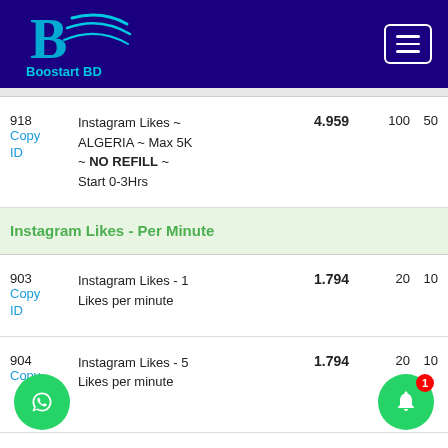Boostart BD
| ID | Service | Price | Min | Max |
| --- | --- | --- | --- | --- |
| 918
Copy ID | Instagram Likes ~ ALGERIA ~ Max 5K ~ NO REFILL ~ Start 0-3Hrs | 4.959 | 100 | 50 |
| Instagram Likes - Per Minute |  |  |  |  |
| 903
Copy ID | Instagram Likes - 1 Likes per minute | 1.794 | 20 | 10 |
| 904
Copy ID | Instagram Likes - 5 Likes per minute | 1.794 | 20 | 10 |
| 905 | Instagram Likes - 10 | 1.794 | 20 | 10 |